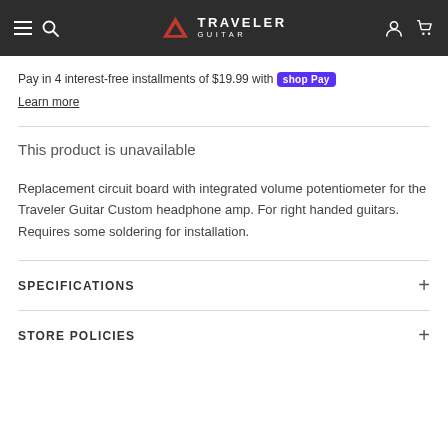Traveler Guitar
Pay in 4 interest-free installments of $19.99 with shop Pay
Learn more
This product is unavailable
Replacement circuit board with integrated volume potentiometer for the Traveler Guitar Custom headphone amp. For right handed guitars. Requires some soldering for installation.
SPECIFICATIONS
STORE POLICIES